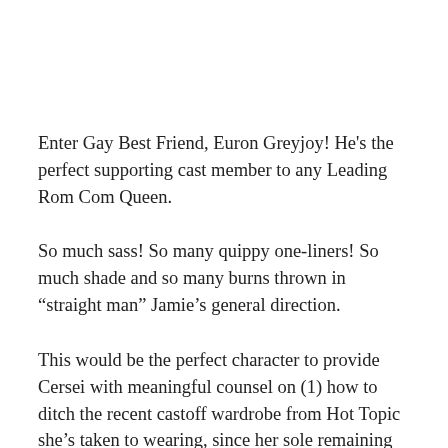Enter Gay Best Friend, Euron Greyjoy! He's the perfect supporting cast member to any Leading Rom Com Queen.
So much sass! So many quippy one-liners! So much shade and so many burns thrown in “straight man” Jamie’s general direction.
This would be the perfect character to provide Cersei with meaningful counsel on (1) how to ditch the recent castoff wardrobe from Hot Topic she’s taken to wearing, since her sole remaining child’s demise, and (2) use contouring makeup to accentuate her cheekbones, thereby maximizing the benefits of her new short haircut!